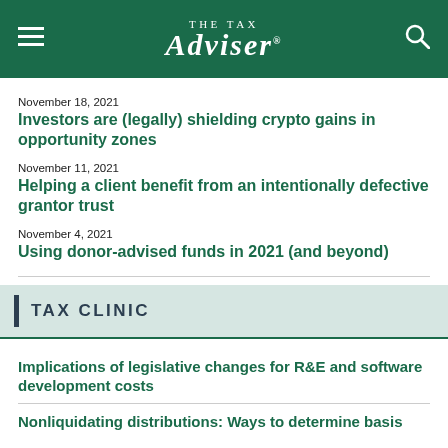THE TAX ADVISER
November 18, 2021
Investors are (legally) shielding crypto gains in opportunity zones
November 11, 2021
Helping a client benefit from an intentionally defective grantor trust
November 4, 2021
Using donor-advised funds in 2021 (and beyond)
TAX CLINIC
Implications of legislative changes for R&E and software development costs
Nonliquidating distributions: Ways to determine basis